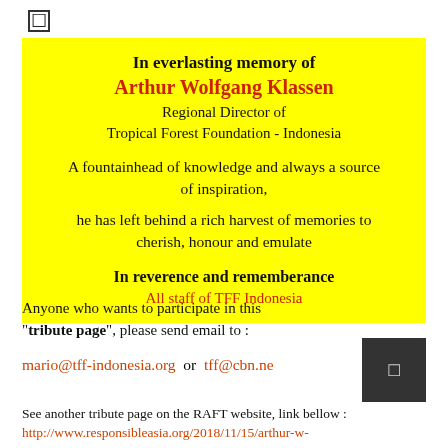[Figure (other): Checkbox/tick icon at top left]
In everlasting memory of
Arthur Wolfgang Klassen
Regional Director of
Tropical Forest Foundation - Indonesia

A fountainhead of knowledge and always a source of inspiration,

he has left behind a rich harvest of memories to cherish, honour and emulate

In reverence and rememberance
All staff of TFF Indonesia
Anyone who wants to participate in this "tribute page", please send email to :
mario@tff-indonesia.org  or  tff@cbn.ne
See another tribute page on the RAFT website, link bellow :
http://www.responsibleasia.org/2018/11/15/arthur-w-